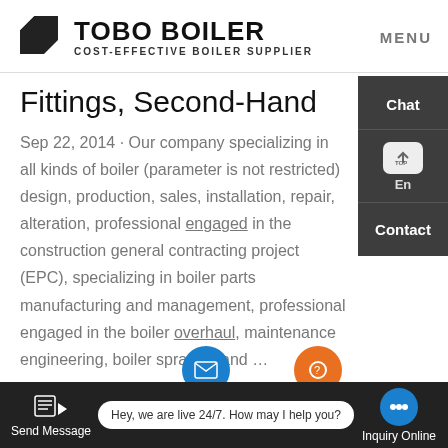[Figure (logo): Tobo Boiler logo with geometric icon, company name 'TOBO BOILER' in bold and subtitle 'COST-EFFECTIVE BOILER SUPPLIER']
MENU
Fittings, Second-Hand
Sep 22, 2014 · Our company specializing in all kinds of boiler (parameter is not restricted) design, production, sales, installation, repair, alteration, professional engaged in the construction general contracting project (EPC), specializing in boiler parts manufacturing and management, professional engaged in the boiler overhaul, maintenance engineering, boiler spraying and …
Learn More
Chat
En
Contact
Send Message   Hey, we are live 24/7. How may I help you?   Inquiry Online